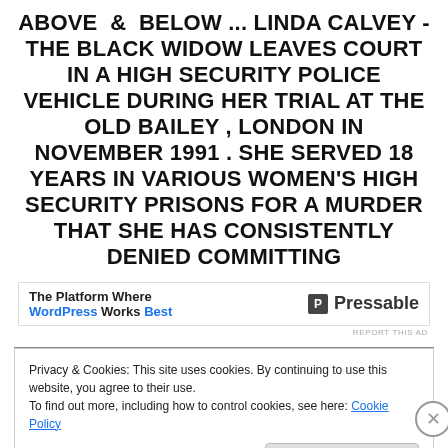ABOVE & BELOW ... LINDA CALVEY -THE BLACK WIDOW LEAVES COURT IN A HIGH SECURITY POLICE VEHICLE DURING HER TRIAL AT THE OLD BAILEY , LONDON IN NOVEMBER 1991 . SHE SERVED 18 YEARS IN VARIOUS WOMEN'S HIGH SECURITY PRISONS FOR A MURDER THAT SHE HAS CONSISTENTLY DENIED COMMITTING
[Figure (other): Advertisement banner for Pressable WordPress hosting platform showing text 'The Platform Where WordPress Works Best' and Pressable logo]
Privacy & Cookies: This site uses cookies. By continuing to use this website, you agree to their use. To find out more, including how to control cookies, see here: Cookie Policy
Close and accept